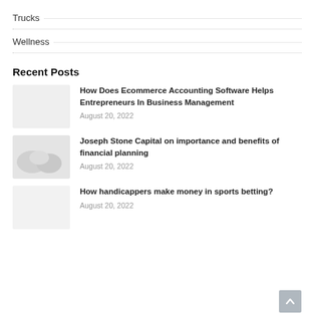Trucks
Wellness
Recent Posts
How Does Ecommerce Accounting Software Helps Entrepreneurs In Business Management
August 20, 2022
Joseph Stone Capital on importance and benefits of financial planning
August 20, 2022
How handicappers make money in sports betting?
August 20, 2022